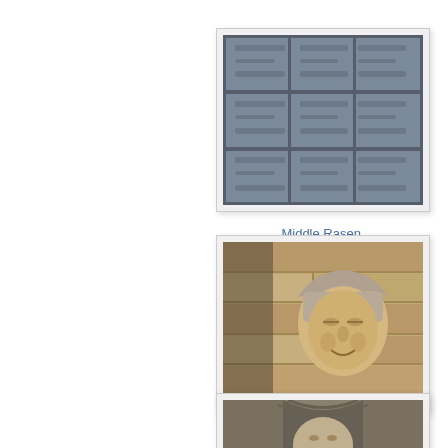[Figure (photo): Photograph of the South Doorway at Middle Rasen, St Peter church, showing carved stone or wooden door panels]
Middle Rasen, St Peter, South Doorway
[Figure (photo): Photograph of a carved stone label stop at Morton by Bourne, St John Baptist church, showing a face carved in stone]
Morton by Bourne, St John Baptist, label stop
[Figure (photo): Partial photograph of a carved architectural detail, partially cut off at bottom of page]